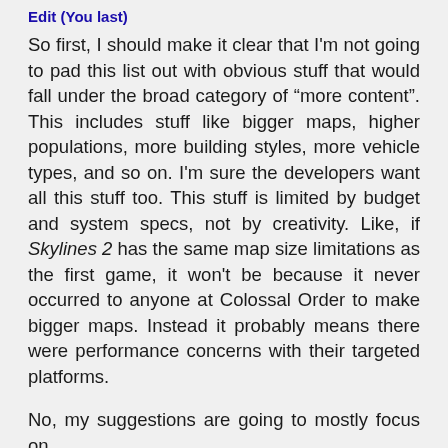Edit (You last)
So first, I should make it clear that I'm not going to pad this list out with obvious stuff that would fall under the broad category of “more content”. This includes stuff like bigger maps, higher populations, more building styles, more vehicle types, and so on. I'm sure the developers want all this stuff too. This stuff is limited by budget and system specs, not by creativity. Like, if Skylines 2 has the same map size limitations as the first game, it won't be because it never occurred to anyone at Colossal Order to make bigger maps. Instead it probably means there were performance concerns with their targeted platforms.
No, my suggestions are going to mostly focus on